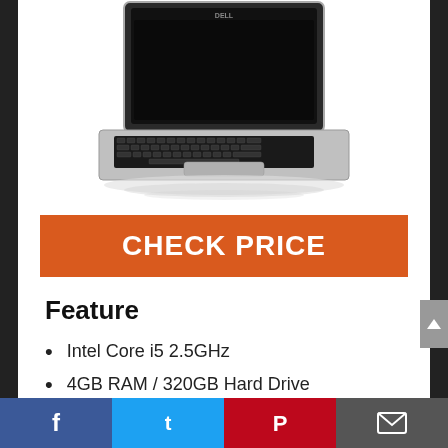[Figure (photo): Dell laptop computer shown open from above, with black keyboard and silver body, displayed against a white background with reflection beneath.]
CHECK PRICE
Feature
Intel Core i5 2.5GHz
4GB RAM / 320GB Hard Drive
14.1″ display
Windows 10 Home 64 bit